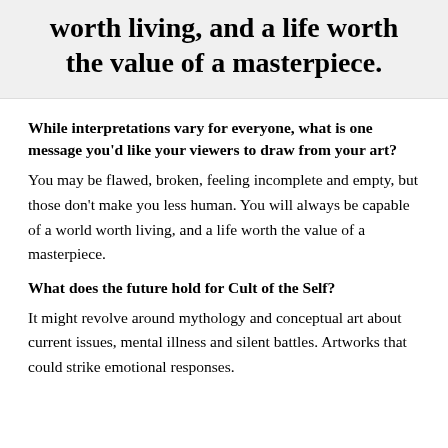worth living, and a life worth the value of a masterpiece.
While interpretations vary for everyone, what is one message you'd like your viewers to draw from your art?
You may be flawed, broken, feeling incomplete and empty, but those don't make you less human. You will always be capable of a world worth living, and a life worth the value of a masterpiece.
What does the future hold for Cult of the Self?
It might revolve around mythology and conceptual art about current issues, mental illness and silent battles. Artworks that could strike emotional responses.